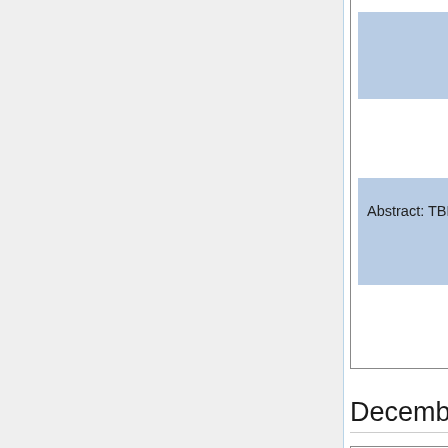Abstract: TBD
December 9
Abstract: TBD